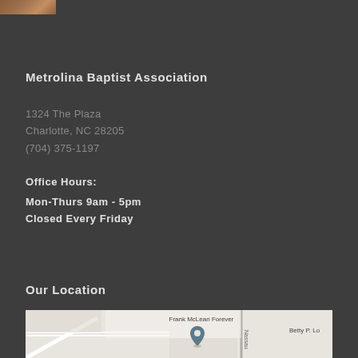[Figure (photo): Small cropped photo at top left corner, showing warm brown/orange tones]
Metrolina Baptist Association
1324 The Plaza
Charlotte, NC 28205
(704) 375-1197
Office Hours:
Mon-Thurs 9am - 5pm
Closed Every Friday
Our Location
[Figure (map): Google Maps embedded showing location near Frank McLean Forever area, Nassau street, Betty P. Lo... visible, with a map pin marker]